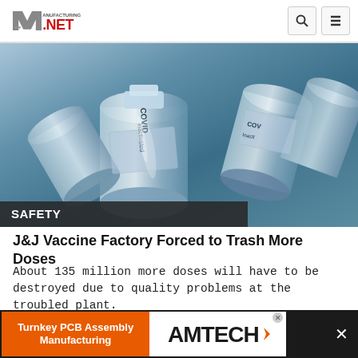Manufacturing.net
[Figure (photo): Close-up of metallic COVID vaccine vials with labels reading 'COVID Inactivated', steel blue tones]
SAFETY
J&J Vaccine Factory Forced to Trash More Doses
About 135 million more doses will have to be destroyed due to quality problems at the troubled plant.
August 12, 2022
[Figure (screenshot): Pink/red LOADING button partially visible]
[Figure (infographic): Advertisement banner: Turnkey PCB Assembly Manufacturing — AMTECH logo]